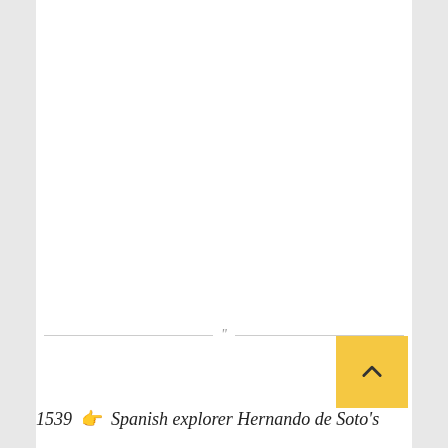1539 👉 Spanish explorer Hernando de Soto's